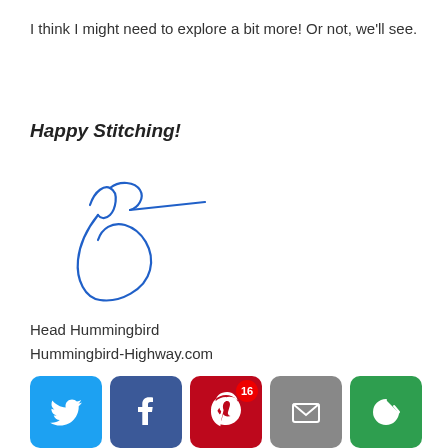I think I might need to explore a bit more! Or not, we'll see.
Happy Stitching!
[Figure (illustration): Handwritten blue ink signature with a looping oval flourish below the name strokes]
Head Hummingbird
Hummingbird-Highway.com
[Figure (infographic): Social media share buttons: Twitter (blue bird), Facebook (blue f), Pinterest (red P with badge 16), Email (gray envelope), More (green circular arrows)]